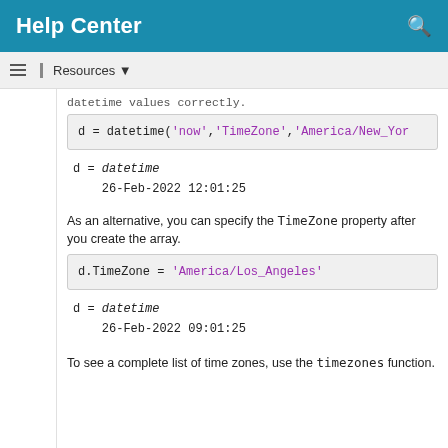Help Center
Resources ▼
datetime values correctly.
d = datetime('now','TimeZone','America/New_Yor
d = datetime
    26-Feb-2022 12:01:25
As an alternative, you can specify the TimeZone property after you create the array.
d.TimeZone = 'America/Los_Angeles'
d = datetime
    26-Feb-2022 09:01:25
To see a complete list of time zones, use the timezones function.